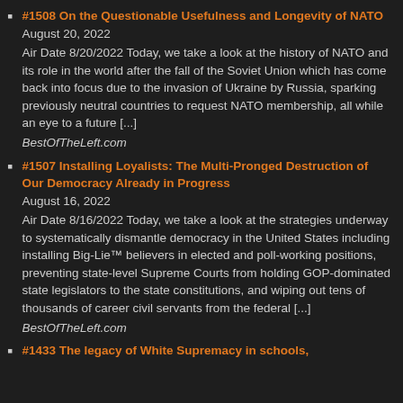#1508 On the Questionable Usefulness and Longevity of NATO August 20, 2022 Air Date 8/20/2022 Today, we take a look at the history of NATO and its role in the world after the fall of the Soviet Union which has come back into focus due to the invasion of Ukraine by Russia, sparking previously neutral countries to request NATO membership, all while an eye to a future [...] BestOfTheLeft.com
#1507 Installing Loyalists: The Multi-Pronged Destruction of Our Democracy Already in Progress August 16, 2022 Air Date 8/16/2022 Today, we take a look at the strategies underway to systematically dismantle democracy in the United States including installing Big-Lie™ believers in elected and poll-working positions, preventing state-level Supreme Courts from holding GOP-dominated state legislators to the state constitutions, and wiping out tens of thousands of career civil servants from the federal [...] BestOfTheLeft.com
#1433 The legacy of White Supremacy in schools,